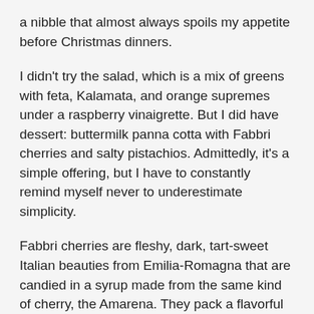a nibble that almost always spoils my appetite before Christmas dinners.
I didn't try the salad, which is a mix of greens with feta, Kalamata, and orange supremes under a raspberry vinaigrette. But I did have dessert: buttermilk panna cotta with Fabbri cherries and salty pistachios. Admittedly, it's a simple offering, but I have to constantly remind myself never to underestimate simplicity.
Fabbri cherries are fleshy, dark, tart-sweet Italian beauties from Emilia-Romagna that are candied in a syrup made from the same kind of cherry, the Amarena. They pack a flavorful wallop that's perfect for Blevins' delicate and delicious panna cotta. And as far as pistachios go, I'm a big fan, so I think they go with everything; but here they do, in fact, complete the full